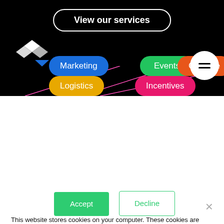[Figure (screenshot): Website header on black background with 'View our services' button, geometric logo, service category pills (Marketing, Events, Creative, Logistics, Incentives), hamburger menu circle, and pink diagonal decorative lines]
This website stores cookies on your computer. These cookies are used to improve your website experience and provide more personalized services to you, both on this website and through other media. To find out more about the cookies we use, see our Privacy Policy.
We won't track your information when you visit our site. But in order to comply with your preferences, we'll have to use just one tiny cookie so that you're not asked to make this choice again.
Accept
Decline